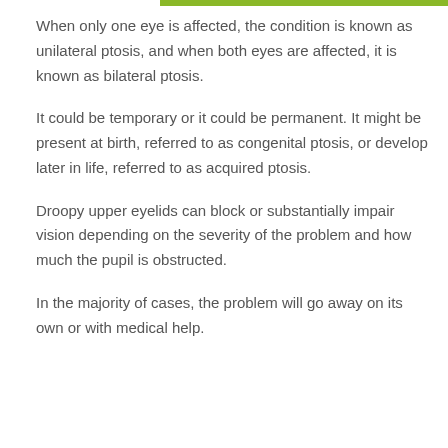When only one eye is affected, the condition is known as unilateral ptosis, and when both eyes are affected, it is known as bilateral ptosis.
It could be temporary or it could be permanent. It might be present at birth, referred to as congenital ptosis, or develop later in life, referred to as acquired ptosis.
Droopy upper eyelids can block or substantially impair vision depending on the severity of the problem and how much the pupil is obstructed.
In the majority of cases, the problem will go away on its own or with medical help.